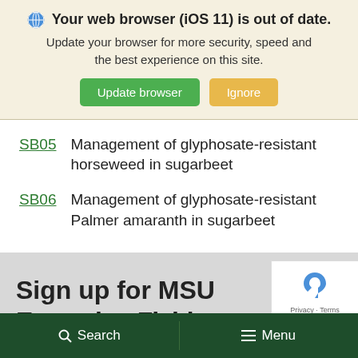🌐 Your web browser (iOS 11) is out of date. Update your browser for more security, speed and the best experience on this site. [Update browser] [Ignore]
SB05   Management of glyphosate-resistant horseweed in sugarbeet
SB06   Management of glyphosate-resistant Palmer amaranth in sugarbeet
Sign up for MSU Extension Field
🔍 Search   ☰ Menu